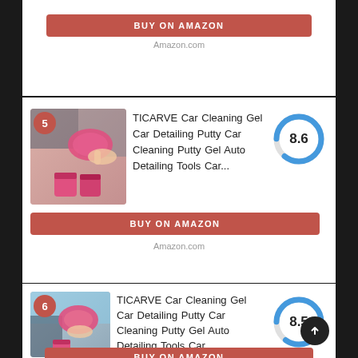BUY ON AMAZON
Amazon.com
[Figure (other): Product image of TICARVE Car Cleaning Gel with number badge 5]
TICARVE Car Cleaning Gel Car Detailing Putty Car Cleaning Putty Gel Auto Detailing Tools Car...
[Figure (donut-chart): Score]
BUY ON AMAZON
Amazon.com
[Figure (other): Product image of TICARVE Car Cleaning Gel with number badge 6]
TICARVE Car Cleaning Gel Car Detailing Putty Car Cleaning Putty Gel Auto Detailing Tools Car...
[Figure (donut-chart): Score]